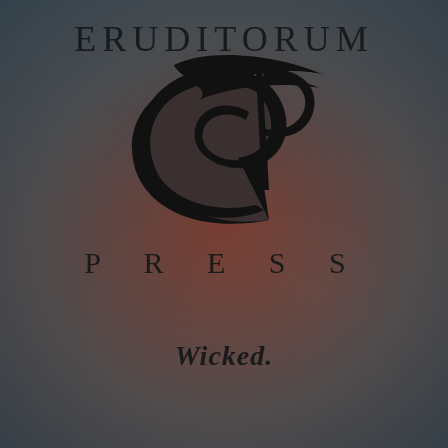ERUDITORUM
[Figure (logo): Eruditorum Press stylized EP monogram logo in black — a sweeping calligraphic letter E merged with a P, with a ribbon/quill element across the top]
PRESS
Wicked.